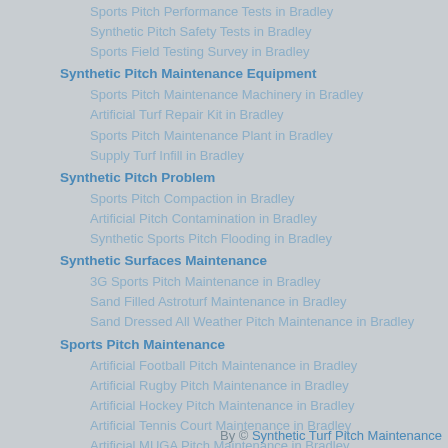Sports Pitch Performance Tests in Bradley
Synthetic Pitch Safety Tests in Bradley
Sports Field Testing Survey in Bradley
Synthetic Pitch Maintenance Equipment
Sports Pitch Maintenance Machinery in Bradley
Artificial Turf Repair Kit in Bradley
Sports Pitch Maintenance Plant in Bradley
Supply Turf Infill in Bradley
Synthetic Pitch Problem
Sports Pitch Compaction in Bradley
Artificial Pitch Contamination in Bradley
Synthetic Sports Pitch Flooding in Bradley
Synthetic Surfaces Maintenance
3G Sports Pitch Maintenance in Bradley
Sand Filled Astroturf Maintenance in Bradley
Sand Dressed All Weather Pitch Maintenance in Bradley
Sports Pitch Maintenance
Artificial Football Pitch Maintenance in Bradley
Artificial Rugby Pitch Maintenance in Bradley
Artificial Hockey Pitch Maintenance in Bradley
Artificial Tennis Court Maintenance in Bradley
Artificial MUGA Pitch Maintenance in Bradley
By © Synthetic Turf Pitch Maintenance